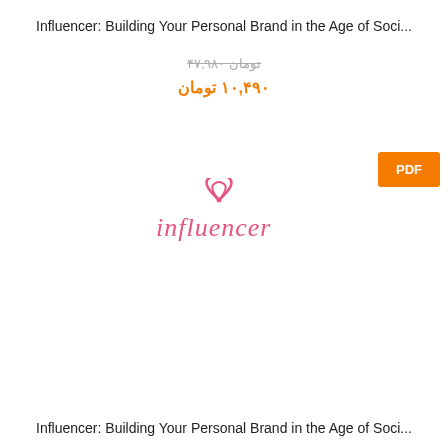Influencer: Building Your Personal Brand in the Age of Soci...
تومان ۴۷,۹۸۰
۱۰,۴۹۰ تومان
[Figure (logo): Influencer brand logo in pink with a WiFi-like icon above the text 'influencer' in lowercase serif font]
Influencer: Building Your Personal Brand in the Age of Soci...